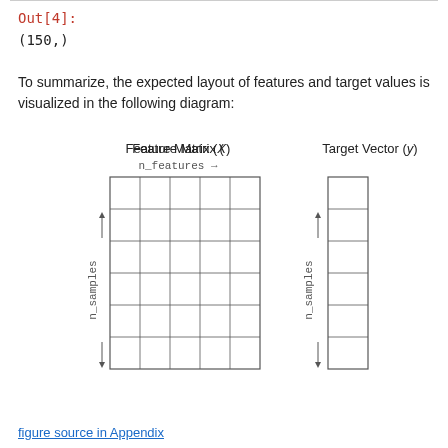Out[4]:
(150,)
To summarize, the expected layout of features and target values is visualized in the following diagram:
[Figure (schematic): Diagram showing Feature Matrix (X) as a grid of 6 rows x 5 columns labeled with n_features arrow along top and n_samples arrow along left side, and Target Vector (y) as a grid of 6 rows x 1 column labeled with n_samples arrow along left side.]
figure source in Appendix